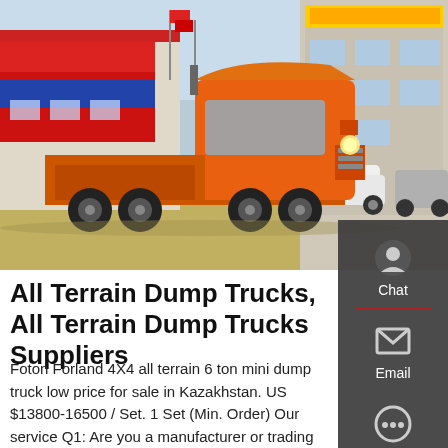[Figure (photo): Orange semi truck / tractor unit parked in front of a commercial truck dealership with red and blue banners and signage in Chinese characters. Other vehicles visible in background.]
All Terrain Dump Trucks, All Terrain Dump Trucks Suppliers
Foton Forland 4X4 all terrain 6 ton mini dump truck low price for sale in Kazakhstan. US $13800-16500 / Set. 1 Set (Min. Order) Our service Q1: Are you a manufacturer or trading company9 We are manufacturer with 15 years production experience. Services The quality warranty period of our products is within 12 months after delivery of products. 2.